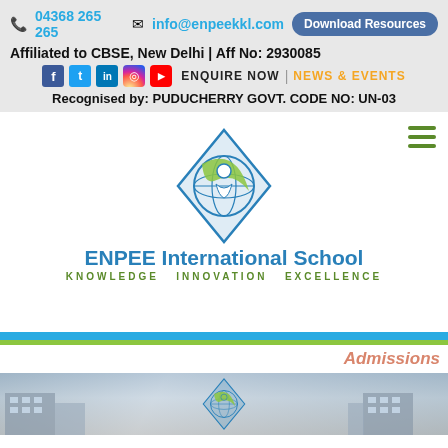📞 04368 265 265  ✉ info@enpeekkl.com  Download Resources
Affiliated to CBSE, New Delhi | Aff No: 2930085
ENQUIRE NOW | NEWS & EVENTS
Recognised by: PUDUCHERRY GOVT. CODE NO: UN-03
[Figure (logo): ENPEE International School logo - diamond shape with globe and student figure, blue and green colors]
ENPEE International School
KNOWLEDGE  INNOVATION  EXCELLENCE
Admissions
[Figure (photo): School building banner with logo overlay, showing school campus with cloudy sky background]